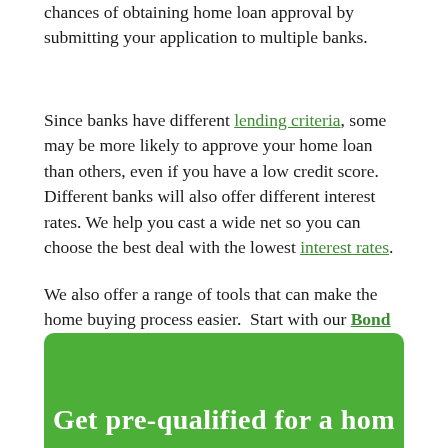chances of obtaining home loan approval by submitting your application to multiple banks.
Since banks have different lending criteria, some may be more likely to approve your home loan than others, even if you have a low credit score. Different banks will also offer different interest rates. We help you cast a wide net so you can choose the best deal with the lowest interest rates.
We also offer a range of tools that can make the home buying process easier. Start with our Bond Calculator, then use our Bond Indicator to determine what you can afford. Finally, when you're ready, you can apply for a home loan.
[Figure (other): Green rounded banner box with partial white text reading 'Get pre-qualified for a home...' at the bottom of the page]